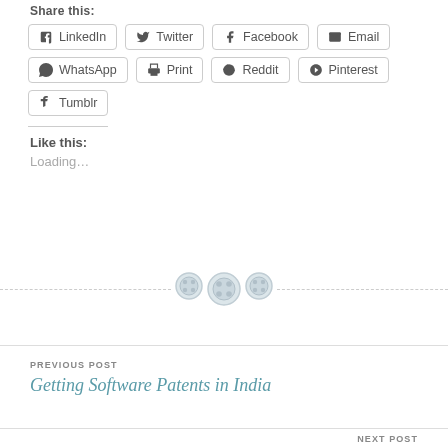Share this:
LinkedIn  Twitter  Facebook  Email  WhatsApp  Print  Reddit  Pinterest  Tumblr
Like this:
Loading...
[Figure (other): Decorative divider with three button/gear icons on a dashed horizontal line]
PREVIOUS POST
Getting Software Patents in India
NEXT POST